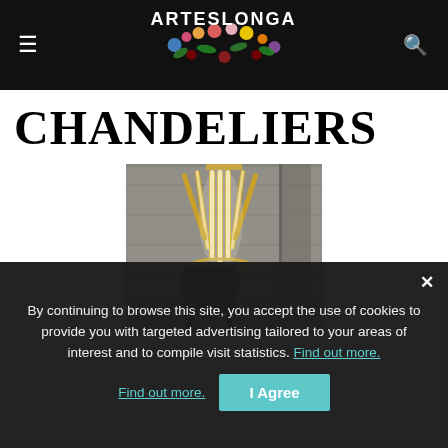ARTESLONGA — navigation header with hamburger menu and search icon
CHANDELIERS
[Figure (photo): A modern chandelier with vertical gold tubes emitting bright white light, hanging in an industrial space. A dark green armchair sits below it on a concrete floor.]
By continuing to browse this site, you accept the use of cookies to provide you with targeted advertising tailored to your areas of interest and to compile visit statistics. Find out more.
I Agree